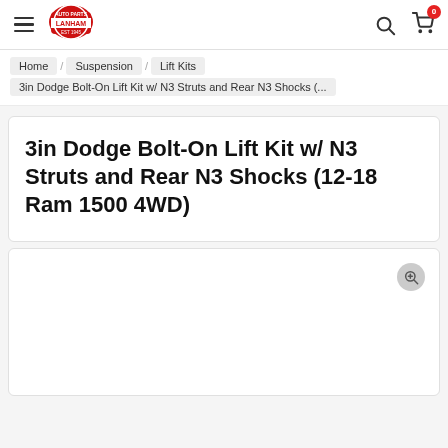[Figure (logo): Lanham auto parts store logo in red with shield/badge shape and white text]
Navigation bar with hamburger menu, Lanham logo, search icon, and shopping cart icon with badge showing 0
Home / Suspension / Lift Kits / 3in Dodge Bolt-On Lift Kit w/ N3 Struts and Rear N3 Shocks (...
3in Dodge Bolt-On Lift Kit w/ N3 Struts and Rear N3 Shocks (12-18 Ram 1500 4WD)
[Figure (photo): Product image area with zoom/magnify icon in upper right corner]